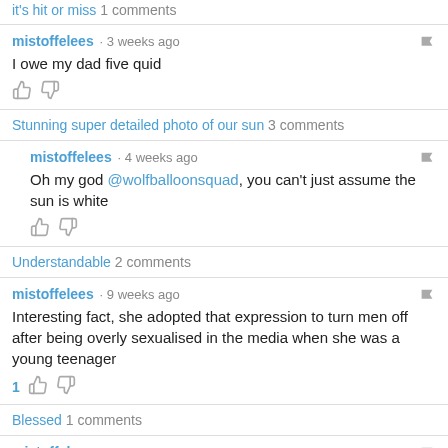it's hit or miss 1 comments
mistoffelees · 3 weeks ago
I owe my dad five quid
Stunning super detailed photo of our sun 3 comments
mistoffelees · 4 weeks ago
Oh my god @wolfballoonsquad, you can't just assume the sun is white
Understandable 2 comments
mistoffelees · 9 weeks ago
Interesting fact, she adopted that expression to turn men off after being overly sexualised in the media when she was a young teenager
Blessed 1 comments
mistoffelees · 9 weeks ago
Those are ducklings, this is a child marriage and should NOT